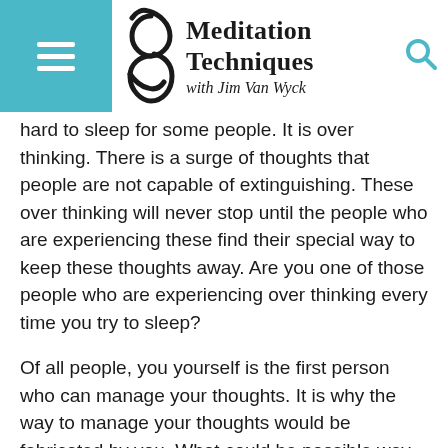Meditation Techniques with Jim Van Wyck
hard to sleep for some people. It is over thinking. There is a surge of thoughts that people are not capable of extinguishing. These over thinking will never stop until the people who are experiencing these find their special way to keep these thoughts away. Are you one of those people who are experiencing over thinking every time you try to sleep?
Of all people, you yourself is the first person who can manage your thoughts. It is why the way to manage your thoughts would be fabricated by you. What could be possible way how to stop those over thinking at night? Perhaps it could be meditation.
It is very difficult to sleep with a noisy surrounding. That is